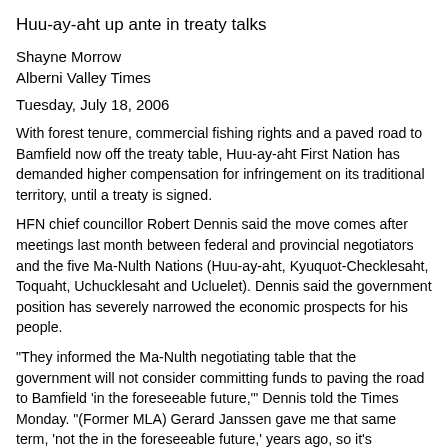Huu-ay-aht up ante in treaty talks
Shayne Morrow
Alberni Valley Times
Tuesday, July 18, 2006
With forest tenure, commercial fishing rights and a paved road to Bamfield now off the treaty table, Huu-ay-aht First Nation has demanded higher compensation for infringement on its traditional territory, until a treaty is signed.
HFN chief councillor Robert Dennis said the move comes after meetings last month between federal and provincial negotiators and the five Ma-Nulth Nations (Huu-ay-aht, Kyuquot-Checklesaht, Toquaht, Uchucklesaht and Ucluelet). Dennis said the government position has severely narrowed the economic prospects for his people.
"They informed the Ma-Nulth negotiating table that the government will not consider committing funds to paving the road to Bamfield 'in the foreseeable future,'" Dennis told the Times Monday. "(Former MLA) Gerard Janssen gave me that same term, 'not the in the foreseeable future,' years ago, so it's obviously the standard buzz-words."
FORESTRY FUTURE LIMITED
HFN had hoped to receive additional forest tenure, over and above the land which will be title transferred to the band as part of a future treaty settlement. Last month, government negotiators advised that the idea is